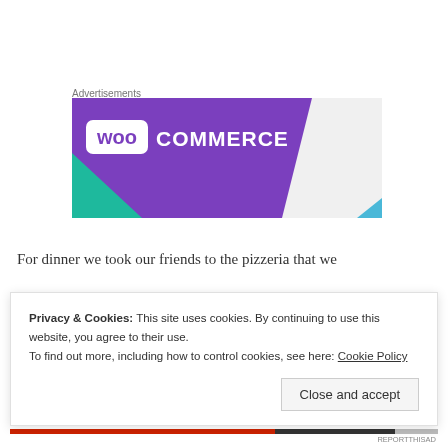Advertisements
[Figure (illustration): WooCommerce advertisement banner with purple background, WooCommerce logo in white, teal triangle shape at bottom left, and light blue triangle at bottom right on a light grey background.]
For dinner we took our friends to the pizzeria that we
Privacy & Cookies: This site uses cookies. By continuing to use this website, you agree to their use.
To find out more, including how to control cookies, see here: Cookie Policy
Close and accept